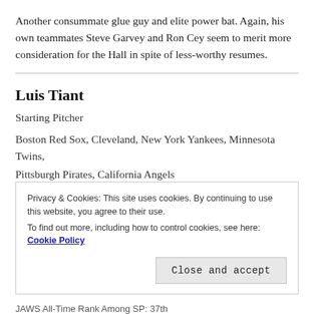Another consummate glue guy and elite power bat. Again, his own teammates Steve Garvey and Ron Cey seem to merit more consideration for the Hall in spite of less-worthy resumes.
Luis Tiant
Starting Pitcher
Boston Red Sox, Cleveland, New York Yankees, Minnesota Twins, Pittsburgh Pirates, California Angels (1964-82)
Privacy & Cookies: This site uses cookies. By continuing to use this website, you agree to their use.
To find out more, including how to control cookies, see here: Cookie Policy
Close and accept
JAWS All-Time Rank Among SP: 37th